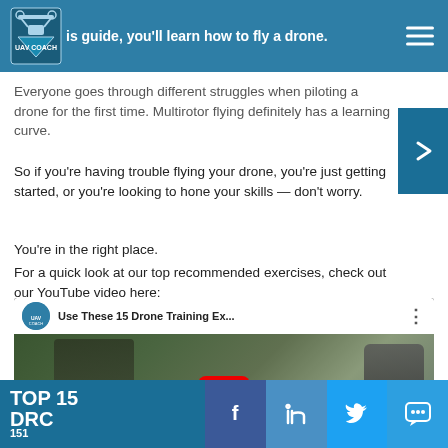In this guide, you'll learn how to fly a drone.
Everyone goes through different struggles when piloting a drone for the first time. Multirotor flying definitely has a learning curve.
So if you're having trouble flying your drone, you're just getting started, or you're looking to hone your skills — don't worry.
You're in the right place.
For a quick look at our top recommended exercises, check out our YouTube video here:
[Figure (screenshot): YouTube video embed thumbnail showing 'Use These 15 Drone Training Ex...' with UAV Coach logo, person standing outdoors holding drone controller, YouTube play button overlay]
TOP 15 DRC...